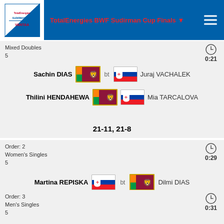TotalEnergies BWF Sudirman Cup Finals
Mixed Doubles
5
0:21
Sachin DIAS / Thilini HENDAHEWA bt Juraj VACHALEK / Mia TARCALOVA
21-11, 21-8
Order: 2
Women's Singles
5
0:29
Martina REPISKA bt Dilmi DIAS
21-15, 21-16
Order: 3
Men's Singles
5
0:31